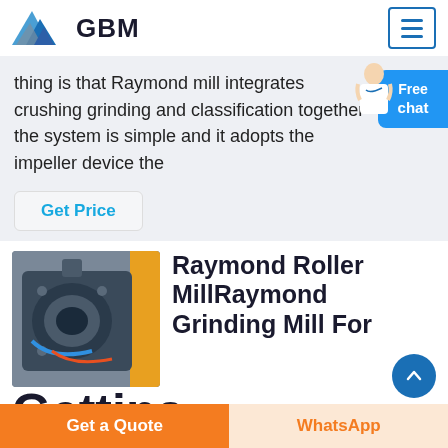GBM
thing is that Raymond mill integrates crushing grinding and classification together the system is simple and it adopts the impeller device the
Get Price
Raymond Roller MillRaymond Grinding Mill For Gettina
[Figure (photo): Close-up photo of industrial Raymond roller mill machinery with yellow and grey mechanical components]
Get a Quote
WhatsApp